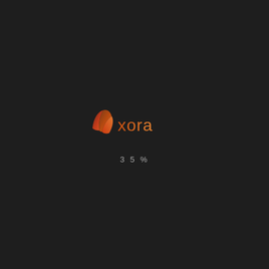[Figure (logo): Xora logo: two stylized swoosh/wing shapes in red-to-orange gradient on the left, followed by the text 'xora' in orange gradient, on a dark background]
35%